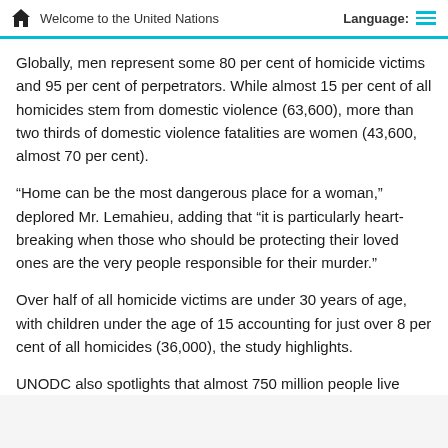Welcome to the United Nations   Language:
Globally, men represent some 80 per cent of homicide victims and 95 per cent of perpetrators. While almost 15 per cent of all homicides stem from domestic violence (63,600), more than two thirds of domestic violence fatalities are women (43,600, almost 70 per cent).
“Home can be the most dangerous place for a woman,” deplored Mr. Lemahieu, adding that “it is particularly heart-breaking when those who should be protecting their loved ones are the very people responsible for their murder.”
Over half of all homicide victims are under 30 years of age, with children under the age of 15 accounting for just over 8 per cent of all homicides (36,000), the study highlights.
UNODC also spotlights that almost 750 million people live